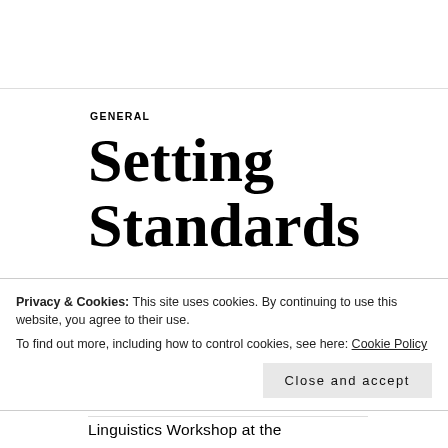GENERAL
Setting Standards
APRIL 5, 2013 | CARMEN EBNER | AUTHORITY, BBC ENGLISH, CLASS, IDEOLOGY, POWER, RP (RECEIVED
Privacy & Cookies: This site uses cookies. By continuing to use this website, you agree to their use.
To find out more, including how to control cookies, see here: Cookie Policy
Close and accept
Linguistics Workshop at the